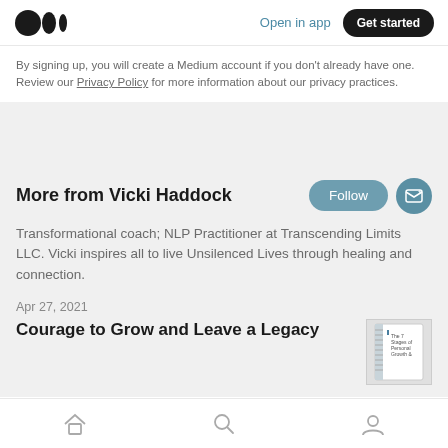Medium logo | Open in app | Get started
By signing up, you will create a Medium account if you don't already have one. Review our Privacy Policy for more information about our privacy practices.
More from Vicki Haddock
Transformational coach; NLP Practitioner at Transcending Limits LLC. Vicki inspires all to live Unsilenced Lives through healing and connection.
Apr 27, 2021
Courage to Grow and Leave a Legacy
Home | Search | Profile